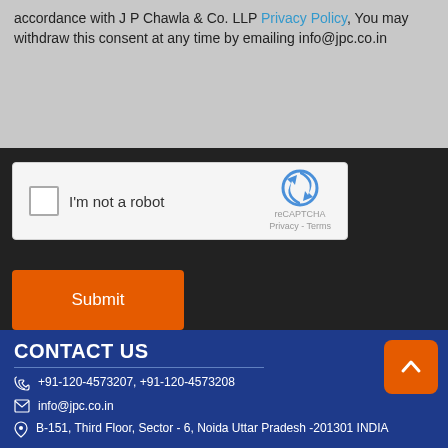accordance with J P Chawla & Co. LLP Privacy Policy, You may withdraw this consent at any time by emailing info@jpc.co.in
[Figure (screenshot): reCAPTCHA widget with checkbox labeled 'I'm not a robot' and reCAPTCHA logo with Privacy - Terms links]
Submit
CONTACT US
+91-120-4573207, +91-120-4573208
info@jpc.co.in
B-151, Third Floor, Sector - 6, Noida Uttar Pradesh -201301 INDIA